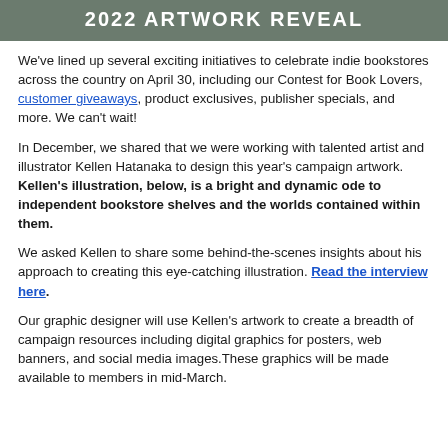2022 ARTWORK REVEAL
We've lined up several exciting initiatives to celebrate indie bookstores across the country on April 30, including our Contest for Book Lovers, customer giveaways, product exclusives, publisher specials, and more. We can't wait!
In December, we shared that we were working with talented artist and illustrator Kellen Hatanaka to design this year's campaign artwork. Kellen's illustration, below, is a bright and dynamic ode to independent bookstore shelves and the worlds contained within them.
We asked Kellen to share some behind-the-scenes insights about his approach to creating this eye-catching illustration. Read the interview here.
Our graphic designer will use Kellen's artwork to create a breadth of campaign resources including digital graphics for posters, web banners, and social media images.These graphics will be made available to members in mid-March.